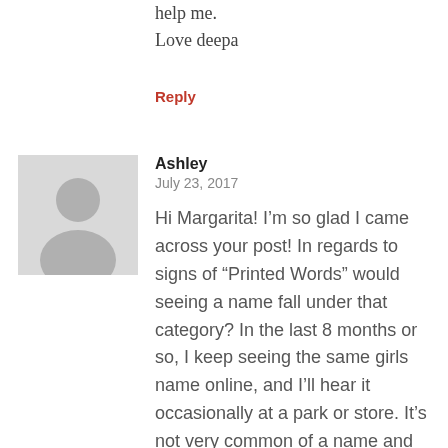help me.
Love deepa
Reply
[Figure (illustration): Gray default avatar silhouette image]
Ashley
July 23, 2017
Hi Margarita! I'm so glad I came across your post! In regards to signs of “Printed Words” would seeing a name fall under that category? In the last 8 months or so, I keep seeing the same girls name online, and I’ll hear it occasionally at a park or store. It’s not very common of a name and yet it keeps appearing to me, so